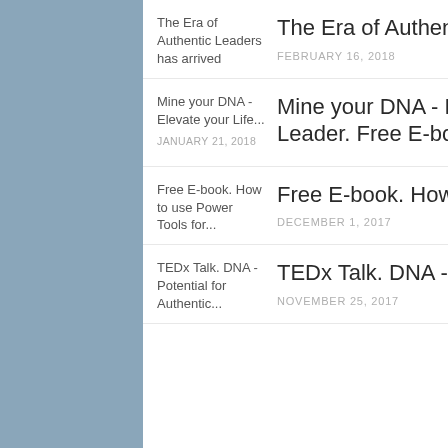The Era of Authentic Leaders has arrived
FEBRUARY 16, 2018
Mine your DNA - Elevate your Life - Become an Authentic Leader. Free E-book
JANUARY 21, 2018
Free E-book. How to use Power Tools for Power People
DECEMBER 1, 2017
TEDx Talk. DNA - Potential for Authentic Leadership
NOVEMBER 25, 2017
[Figure (logo): reCAPTCHA badge with logo and Privacy/Terms links]